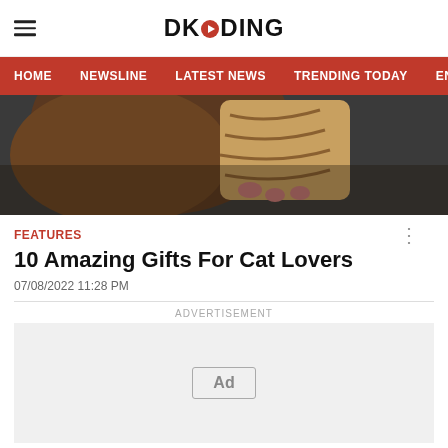DKODING
[Figure (other): Navigation bar with menu items: HOME, NEWSLINE, LATEST NEWS, TRENDING TODAY, ENT]
[Figure (photo): Hero image showing a person holding a cat, close-up of cat paws on person's shoulder]
FEATURES
10 Amazing Gifts For Cat Lovers
07/08/2022 11:28 PM
ADVERTISEMENT
[Figure (other): Advertisement placeholder box with Ad badge]